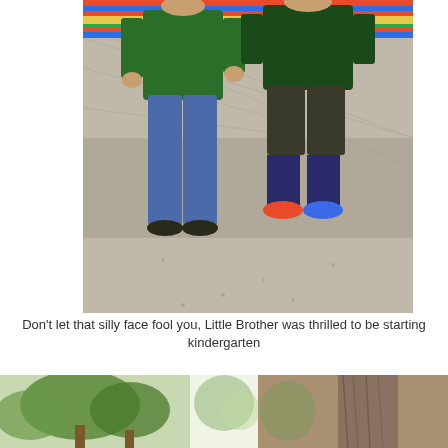[Figure (photo): Two boys standing together outdoors in front of a colorful striped blanket/serape backdrop and a chain-link fence. Both wearing green shirts. Left boy in jeans and sneakers, right boy in dark shorts, long socks, and colorful sneakers. Concrete ground visible.]
Don't let that silly face fool you, Little Brother was thrilled to be starting kindergarten
[Figure (photo): Partial photo on bottom left showing trees with green foliage.]
[Figure (photo): Partial photo in bottom center showing trees with bright light.]
[Figure (photo): Partial photo on bottom right showing tree bark close-up.]